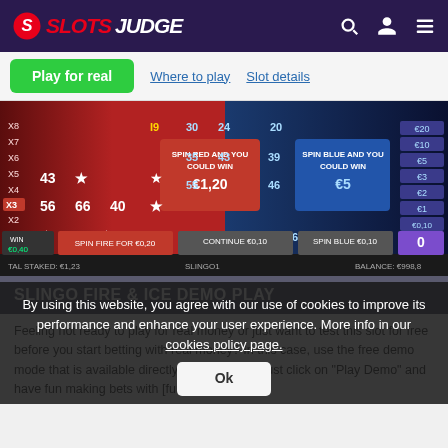SLOTS JUDGE
[Figure (screenshot): Navigation bar with 'Play for real' green button, 'Where to play' and 'Slot details' links]
[Figure (screenshot): Slingo Fire & Ice slot game screenshot showing fire (red) and ice (blue) themed bingo-style grid with numbers, stars, spin buttons, WIN €0.40 display, and bet options]
SLINGO FIRE & ICE DEMO PLAY
By using this website, you agree with our use of cookies to improve its performance and enhance your user experience. More info in our cookies policy page. [Ok button]
Feeling not ready to play for real money or just want to test this slot for free before you start betting with real money? In this case, use the free demo mode that is available directly on this [page], just click on "Play Demo" and have fun making bets with [fun] coins!